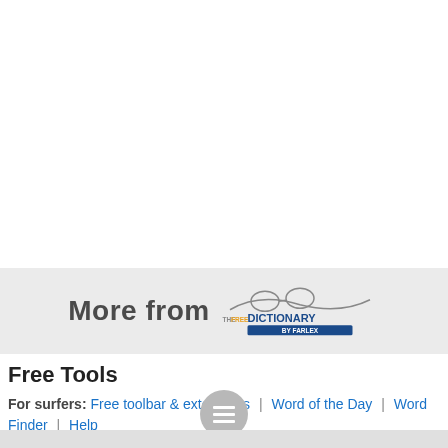[Figure (logo): The Free Dictionary by Farlex logo with glasses and curved line]
Free Tools
For surfers: Free toolbar & extensions | Word of the Day | Word Finder | Help
For webmasters: Free content | Linking | lookup box